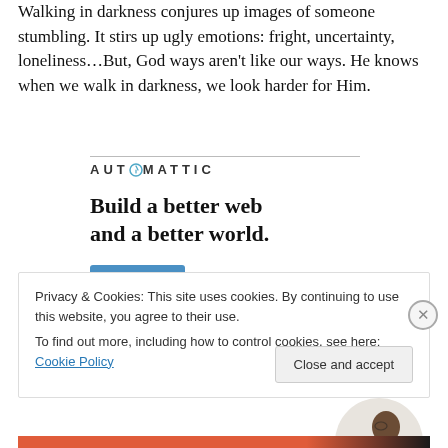Walking in darkness conjures up images of someone stumbling. It stirs up ugly emotions: fright, uncertainty, loneliness…But, God ways aren't like our ways. He knows when we walk in darkness, we look harder for Him.
[Figure (logo): Automattic logo with stylized O containing a clockface-like circle]
[Figure (infographic): Automattic advertisement: 'Build a better web and a better world.' with an Apply button and a photo of a man thinking]
Privacy & Cookies: This site uses cookies. By continuing to use this website, you agree to their use.
To find out more, including how to control cookies, see here: Cookie Policy
Close and accept